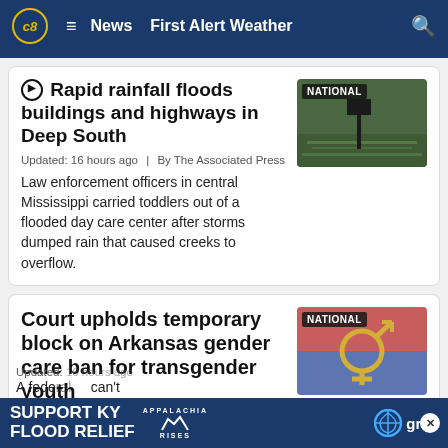CBS 8 ≡ News First Alert Weather 🔍
▶ Rapid rainfall floods buildings and highways in Deep South
Updated: 16 hours ago  |  By The Associated Press
Law enforcement officers in central Mississippi carried toddlers out of a flooded day care center after storms dumped rain that caused creeks to overflow.
[Figure (photo): Flooded area with NATIONAL badge overlay]
Court upholds temporary block on Arkansas gender care ban for transgender youth
[Figure (photo): Gender symbol photo with NATIONAL badge overlay]
Updated: ...  A fede... can't
SUPPORT KY FLOOD RELIEF — APPALACHIA RISES — gray